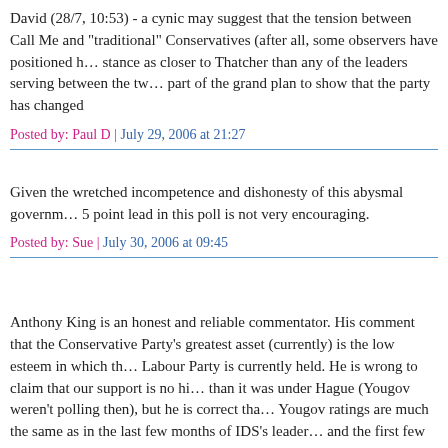David (28/7, 10:53) - a cynic may suggest that the tension between Call Me and "traditional" Conservatives (after all, some observers have positioned his stance as closer to Thatcher than any of the leaders serving between the two) part of the grand plan to show that the party has changed
Posted by: Paul D | July 29, 2006 at 21:27
Given the wretched incompetence and dishonesty of this abysmal government, a 5 point lead in this poll is not very encouraging.
Posted by: Sue | July 30, 2006 at 09:45
Anthony King is an honest and reliable commentator. His comment that the Conservative Party's greatest asset (currently) is the low esteem in which the Labour Party is currently held. He is wrong to claim that our support is no higher than it was under Hague (Yougov weren't polling then), but he is correct that Yougov ratings are much the same as in the last few months of IDS's leadership and the first few months as Michael Howard's.
If David Cameron's net approval rating has gone from +27% in February to now, I don't see how that can be viewed as anything other than a problem.